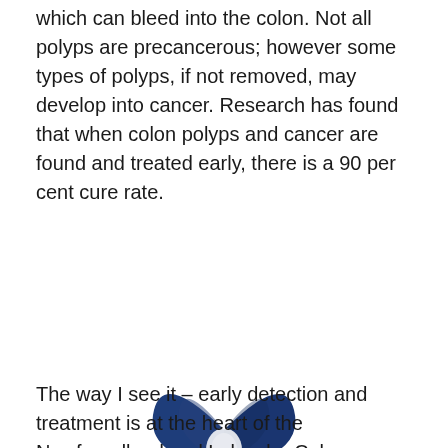which can bleed into the colon. Not all polyps are precancerous; however some types of polyps, if not removed, may develop into cancer. Research has found that when colon polyps and cancer are found and treated early, there is a 90 per cent cure rate.
[Figure (illustration): Dark navy blue awareness ribbon with 'Colorectal Cancer Awareness' text written along the ribbon.]
The way I see it – early detection and treatment is at the heart of the Newfoundland and Labrador Colon Cancer